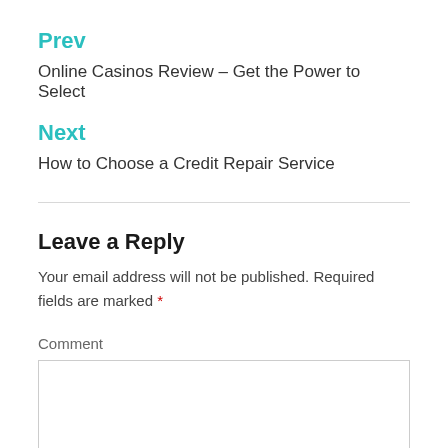Prev
Online Casinos Review – Get the Power to Select
Next
How to Choose a Credit Repair Service
Leave a Reply
Your email address will not be published. Required fields are marked *
Comment